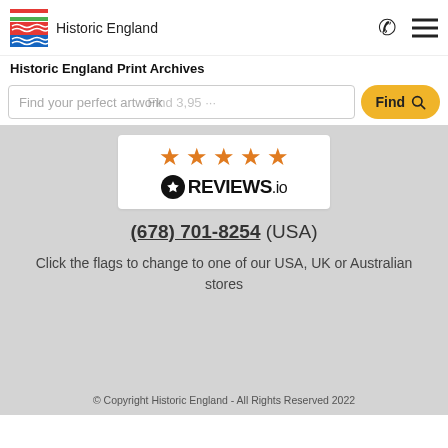Historic England
Historic England Print Archives
Find your perfect artwork
[Figure (logo): REVIEWS.io badge with 4.5 orange stars and the REVIEWS.io logo on white background]
(678) 701-8254 (USA)
Click the flags to change to one of our USA, UK or Australian stores
© Copyright Historic England - All Rights Reserved 2022